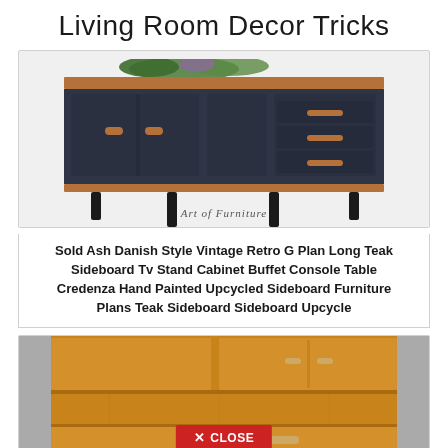Living Room Decor Tricks
[Figure (photo): Mid-century modern dark navy/charcoal sideboard with warm wood top and legs, wooden handles, drawers on right side, cabinet doors on left. Watermark reads 'Art of Furniture'. Plants visible on top.]
Sold Ash Danish Style Vintage Retro G Plan Long Teak Sideboard Tv Stand Cabinet Buffet Console Table Credenza Hand Painted Upcycled Sideboard Furniture Plans Teak Sideboard Sideboard Upcycle
[Figure (photo): Close-up of a wooden teak mid-century cabinet/sideboard unit showing upper cupboard doors, open shelf compartment, and drawer with curved handle at bottom. Gray background. Red CLOSE button overlay at bottom center.]